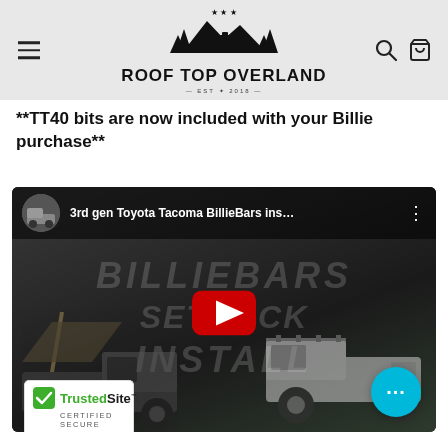[Figure (logo): Roof Top Overland logo with mountain/tree silhouette and stars, with navigation menu icon on left and search/cart icons on right]
**TT40 bits are now included with your Billie purchase**
[Figure (screenshot): YouTube video thumbnail for '3rd gen Toyota Tacoma BillieBars ins...' showing two trucks in a parking lot with a rooftop tent, and watermark text reading 'BILLIEBARS SETBACK INSTALL'. Red YouTube play button in center. TrustedSite certified badge in bottom left. Cyan chat bubble widget in bottom right.]